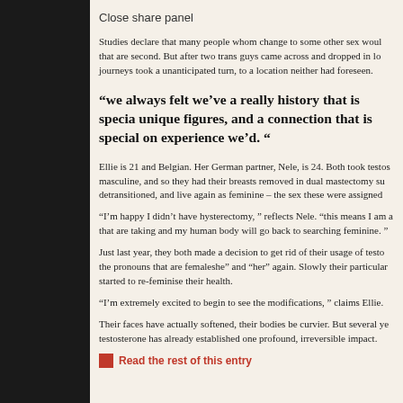Close share panel
Studies declare that many people whom change to some other sex would that are second. But after two trans guys came across and dropped in lo journeys took a unanticipated turn, to a location neither had foreseen.
“we always felt we’ve a really history that is specia unique figures, and a connection that is special on experience we’d. “
Ellie is 21 and Belgian. Her German partner, Nele, is 24. Both took testos masculine, and so they had their breasts removed in dual mastectomy su detransitioned, and live again as feminine – the sex these were assigned
“I’m happy I didn’t have hysterectomy, ” reflects Nele. “this means I am a that are taking and my human body will go back to searching feminine. ”
Just last year, they both made a decision to get rid of their usage of testo the pronouns that are femaleshe” and “her” again. Slowly their particular started to re-feminise their health.
“I’m extremely excited to begin to see the modifications, ” claims Ellie.
Their faces have actually softened, their bodies be curvier. But several ye testosterone has already established one profound, irreversible impact.
Read the rest of this entry